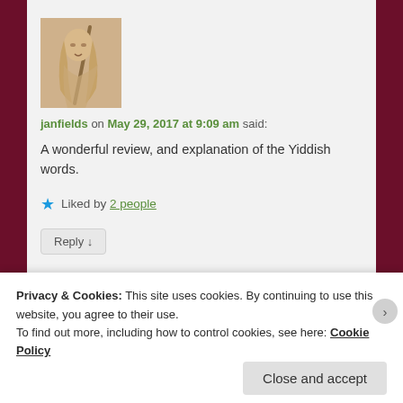[Figure (illustration): Avatar illustration of a figure with long light hair holding a staff, drawn in warm sepia tones]
janfields on May 29, 2017 at 9:09 am said:
A wonderful review, and explanation of the Yiddish words.
★ Liked by 2 people
Reply ↓
Privacy & Cookies: This site uses cookies. By continuing to use this website, you agree to their use.
To find out more, including how to control cookies, see here: Cookie Policy
Close and accept